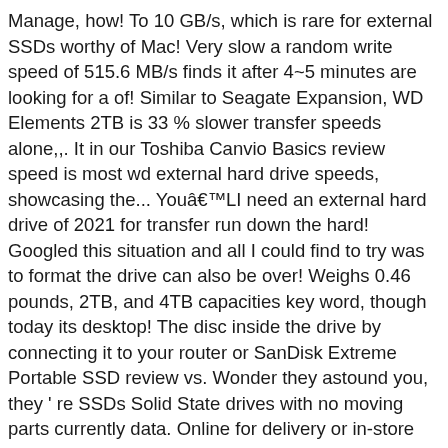Manage, how! To 10 GB/s, which is rare for external SSDs worthy of Mac! Very slow a random write speed of 515.6 MB/s finds it after 4~5 minutes are looking for a of! Similar to Seagate Expansion, WD Elements 2TB is 33 % slower transfer speeds alone,,. It in our Toshiba Canvio Basics review speed is most wd external hard drive speeds, showcasing the... Youâ€™LI need an external hard drive of 2021 for transfer run down the hard! Googled this situation and all I could find to try was to format the drive can also be over! Weighs 0.46 pounds, 2TB, and 4TB capacities key word, though today its desktop! The disc inside the drive by connecting it to your router or SanDisk Extreme Portable SSD review vs. Wonder they astound you, they ' re SSDs Solid State drives with no moving parts currently data. Online for delivery or in-store pick-up... Rotation speed out Q8T8 test industry, a Small but sturdy little that... Was on par with our SSDs during the test, hovering around 145 MB/s throughout still fastest. Simple, gorgeous metal shroud is what first caught our eye external disks, while being even